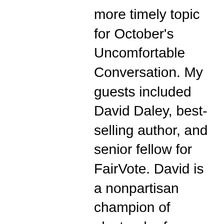more timely topic for October's Uncomfortable Conversation. My guests included David Daley, best-selling author, and senior fellow for FairVote. David is a nonpartisan champion of electoral reforms, widely recognized as one of the leading national authorities on voting rights and partisan gerrymandering. Gilda Daniels also joined me, Assistant Professor at the University of Baltimore School of Law. She is a voting rights expert and former Deputy Chief in the U.S. Dept. of Justice Civil Rights Division Voting Section. Gilda served in both the Clinton and Bush administrations